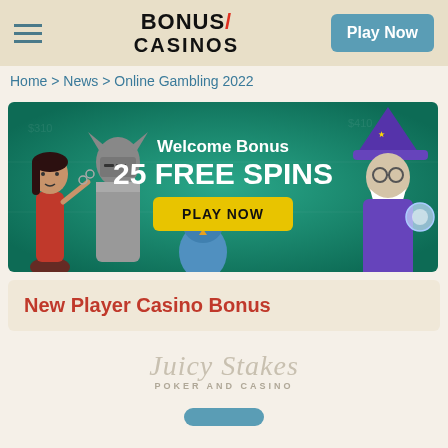BONUS/ CASINOS — Play Now
Home > News > Online Gambling 2022
[Figure (illustration): Casino welcome bonus banner with animated characters (woman warrior, wizard) and text: Welcome Bonus 25 FREE SPINS with a yellow PLAY NOW button, on a teal/green background]
New Player Casino Bonus
[Figure (logo): Juicy Stakes Poker and Casino logo in cursive/script font]